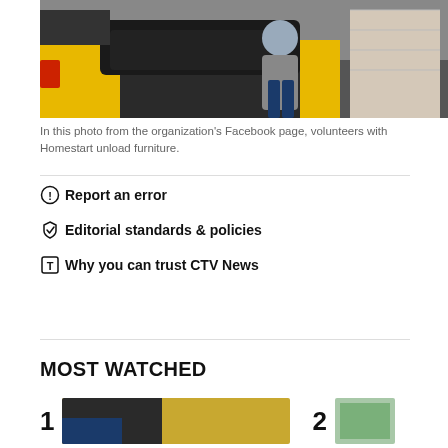[Figure (photo): A person in a grey hoodie unloading black furniture from a yellow van. Garage door visible in background.]
In this photo from the organization's Facebook page, volunteers with Homestart unload furniture.
Report an error
Editorial standards & policies
Why you can trust CTV News
MOST WATCHED
[Figure (photo): Thumbnail image 1 in Most Watched section]
[Figure (photo): Thumbnail image 2 in Most Watched section]